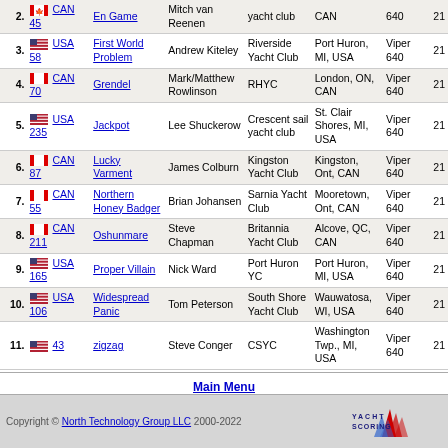| # | Boat | Boat Name | Skipper | Club | Location | Boat Type | Rating |
| --- | --- | --- | --- | --- | --- | --- | --- |
| 2. | CAN 45 | En Game | Mitch van Reenen | yacht club | CAN | 640 | 21 |
| 3. | USA 58 | First World Problem | Andrew Kiteley | Riverside Yacht Club | Port Huron, MI, USA | Viper 640 | 21 |
| 4. | CAN 70 | Grendel | Mark/Matthew Rowlinson | RHYC | London, ON, CAN | Viper 640 | 21 |
| 5. | USA 235 | Jackpot | Lee Shuckerow | Crescent sail yacht club | St. Clair Shores, MI, USA | Viper 640 | 21 |
| 6. | CAN 87 | Lucky Varment | James Colburn | Kingston Yacht Club | Kingston, Ont, CAN | Viper 640 | 21 |
| 7. | CAN 55 | Northern Honey Badger | Brian Johansen | Sarnia Yacht Club | Mooretown, Ont, CAN | Viper 640 | 21 |
| 8. | CAN 211 | Oshunmare | Steve Chapman | Britannia Yacht Club | Alcove, QC, CAN | Viper 640 | 21 |
| 9. | USA 165 | Proper Villain | Nick Ward | Port Huron YC | Port Huron, MI, USA | Viper 640 | 21 |
| 10. | USA 106 | Widespread Panic | Tom Peterson | South Shore Yacht Club | Wauwatosa, WI, USA | Viper 640 | 21 |
| 11. | 43 | zigzag | Steve Conger | CSYC | Washington Twp., MI, USA | Viper 640 | 21 |
Main Menu
Copyright © North Technology Group LLC 2000-2022